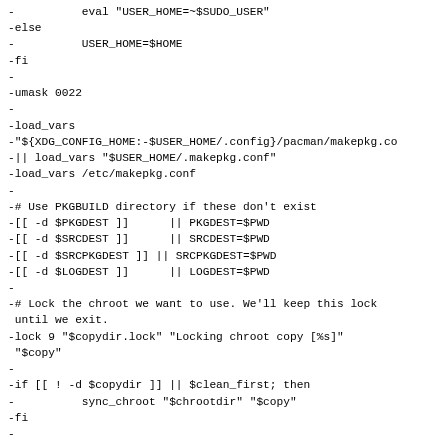Code diff showing shell script changes including eval USER_HOME, else/fi blocks, umask, load_vars, PKGDEST/SRCDEST/SRCPKGDEST/LOGDEST checks, lock chroot, sync_chroot, update_first replaced by main() function